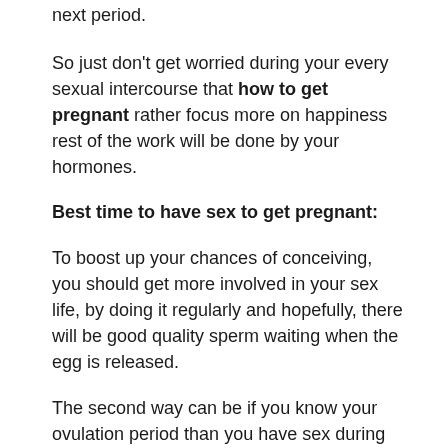next period.
So just don't get worried during your every sexual intercourse that how to get pregnant rather focus more on happiness rest of the work will be done by your hormones.
Best time to have sex to get pregnant:
To boost up your chances of conceiving, you should get more involved in your sex life, by doing it regularly and hopefully, there will be good quality sperm waiting when the egg is released.
The second way can be if you know your ovulation period than you have sex during that period that really can increase your chances of getting pregnant.  Continue having sex during ovulation. After this, your fertile time will be over for that cycle.